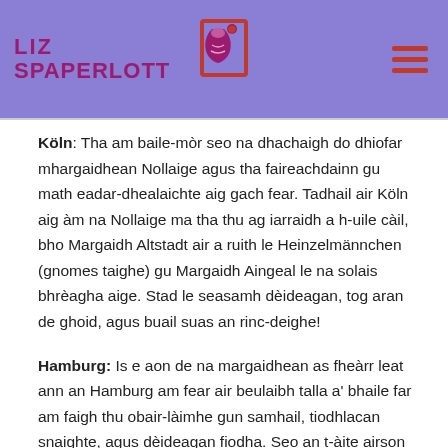Liz Spaperlott
Köln: Tha am baile-mòr seo na dhachaigh do dhiofar mhargaidhean Nollaige agus tha faireachdainn gu math eadar-dhealaichte aig gach fear. Tadhail air Köln aig àm na Nollaige ma tha thu ag iarraidh a h-uile càil, bho Margaidh Altstadt air a ruith le Heinzelmännchen (gnomes taighe) gu Margaidh Aingeal le na solais bhrèagha aige. Stad le seasamh dèideagan, tog aran de ghoid, agus buail suas an rinc-deighe!
Hamburg: Is e aon de na margaidhean as fheàrr leat ann an Hamburg am fear air beulaibh talla a' bhaile far am faigh thu obair-làimhe gun samhail, tiodhlacan snaighte, agus dèideagan fiodha. Seo an t-àite airson a dhol ma tha thu a'